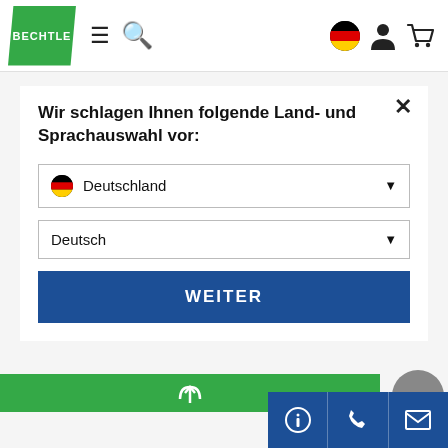[Figure (logo): Bechtle company logo — green parallelogram with white BECHTLE text]
[Figure (screenshot): Navigation icons: hamburger menu, search (magnifying glass), German flag circle, person icon, shopping cart icon]
Wir schlagen Ihnen folgende Land- und Sprachauswahl vor:
Deutschland (dropdown with German flag)
Deutsch (dropdown)
WEITER
[Figure (screenshot): Green banner strip partially visible at bottom, gray circle partially visible at right]
[Figure (screenshot): Bottom toolbar with three dark blue buttons: info (i), phone, and email icons]